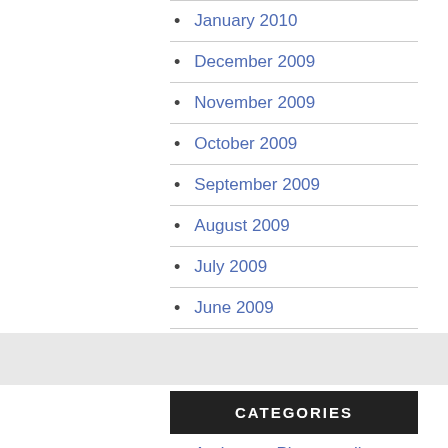January 2010
December 2009
November 2009
October 2009
September 2009
August 2009
July 2009
June 2009
CATEGORIES
Audemars Piguet replica